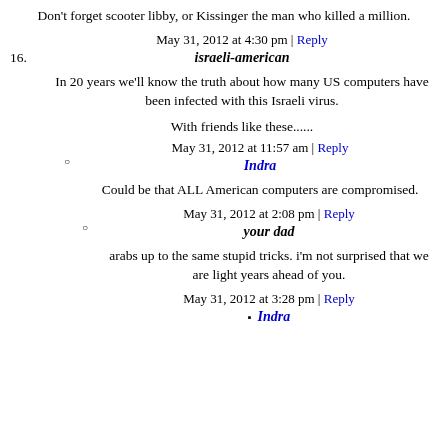Don't forget scooter libby, or Kissinger the man who killed a million.
May 31, 2012 at 4:30 pm | Reply
israeli-american
In 20 years we'll know the truth about how many US computers have been infected with this Israeli virus.
With friends like these......
May 31, 2012 at 11:57 am | Reply
Indra
Could be that ALL American computers are compromised.
May 31, 2012 at 2:08 pm | Reply
your dad
arabs up to the same stupid tricks. i'm not surprised that we are light years ahead of you.
May 31, 2012 at 3:28 pm | Reply
Indra